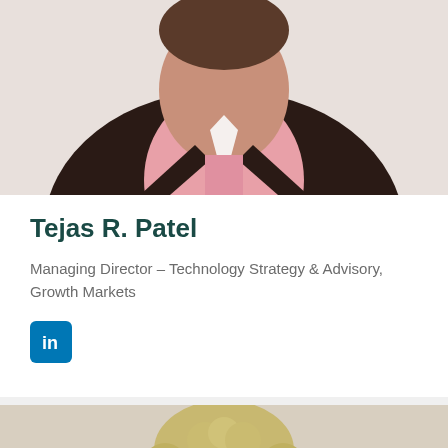[Figure (photo): Professional headshot of a man wearing a dark jacket over a pink checkered shirt, photographed from the torso up against a white background]
Tejas R. Patel
Managing Director – Technology Strategy & Advisory, Growth Markets
[Figure (logo): LinkedIn icon button — white 'in' logo on blue rounded-square background]
[Figure (photo): Professional headshot of a woman with curly blonde hair, photographed from the shoulders up against a light beige/stone background]